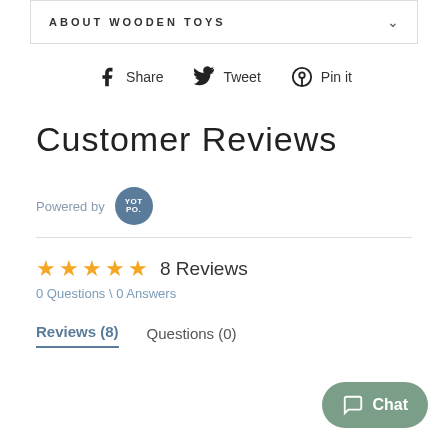ABOUT WOODEN TOYS
Share  Tweet  Pin it
Customer Reviews
Powered by YOTPO
★★★★★  8 Reviews
0 Questions \ 0 Answers
Reviews (8)  Questions (0)